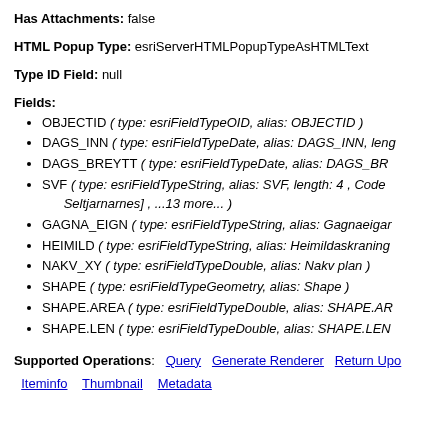Has Attachments: false
HTML Popup Type: esriServerHTMLPopupTypeAsHTMLText
Type ID Field: null
Fields:
OBJECTID ( type: esriFieldTypeOID, alias: OBJECTID )
DAGS_INN ( type: esriFieldTypeDate, alias: DAGS_INN, leng…
DAGS_BREYTT ( type: esriFieldTypeDate, alias: DAGS_BR…
SVF ( type: esriFieldTypeString, alias: SVF, length: 4 , Codec… Seltjarnarnes] , ...13 more... )
GAGNA_EIGN ( type: esriFieldTypeString, alias: Gagnaeigan…
HEIMILD ( type: esriFieldTypeString, alias: Heimildaskraning…
NAKV_XY ( type: esriFieldTypeDouble, alias: Nakv plan )
SHAPE ( type: esriFieldTypeGeometry, alias: Shape )
SHAPE.AREA ( type: esriFieldTypeDouble, alias: SHAPE.AR…
SHAPE.LEN ( type: esriFieldTypeDouble, alias: SHAPE.LEN…
Supported Operations: Query   Generate Renderer   Return Upo…
Iteminfo   Thumbnail   Metadata